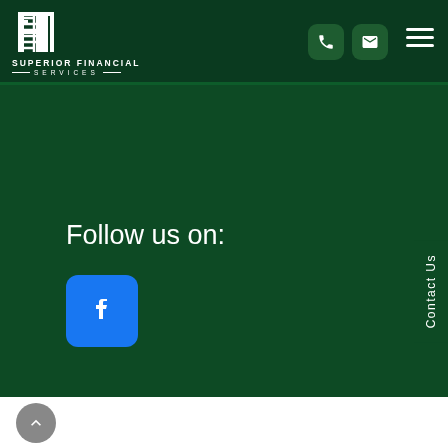[Figure (logo): Superior Financial Services logo with stylized 'MS' lettering in white on dark green background]
Follow us on:
[Figure (illustration): Facebook icon button - blue rounded square with white 'f' letter]
Contact Us
© 2020 Superior Financial Services. All Rights Reserved. Privacy Notice. Website Terms & Conditions.